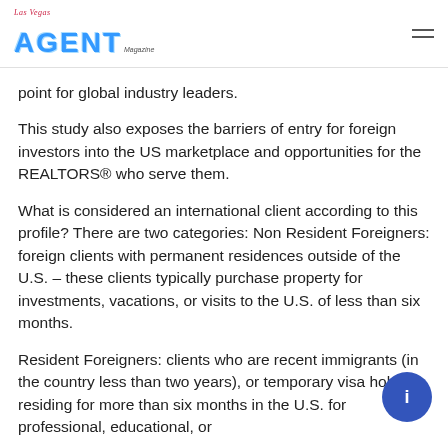Las Vegas AGENT Magazine
point for global industry leaders.
This study also exposes the barriers of entry for foreign investors into the US marketplace and opportunities for the REALTORS® who serve them.
What is considered an international client according to this profile? There are two categories: Non Resident Foreigners: foreign clients with permanent residences outside of the U.S. – these clients typically purchase property for investments, vacations, or visits to the U.S. of less than six months.
Resident Foreigners: clients who are recent immigrants (in the country less than two years), or temporary visa holders residing for more than six months in the U.S. for professional, educational, or